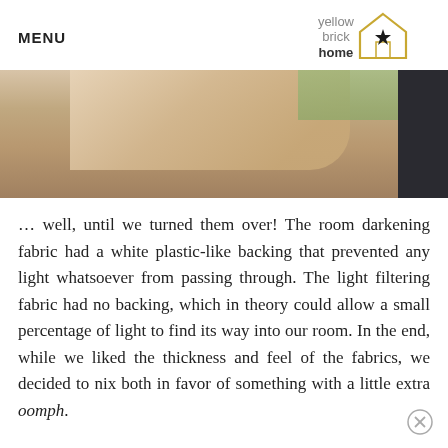MENU | yellow brick home
[Figure (photo): Close-up photo of a hand near a fabric swatch, with dark panel visible on right side]
... well, until we turned them over! The room darkening fabric had a white plastic-like backing that prevented any light whatsoever from passing through. The light filtering fabric had no backing, which in theory could allow a small percentage of light to find its way into our room. In the end, while we liked the thickness and feel of the fabrics, we decided to nix both in favor of something with a little extra oomph.